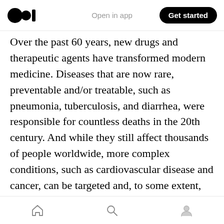Open in app | Get started
Over the past 60 years, new drugs and therapeutic agents have transformed modern medicine. Diseases that are now rare, preventable and/or treatable, such as pneumonia, tuberculosis, and diarrhea, were responsible for countless deaths in the 20th century. And while they still affect thousands of people worldwide, more complex conditions, such as cardiovascular disease and cancer, can be targeted and, to some extent, treated thanks to medical breakthroughs. With improved sanitation and immunization and the increasing availability of drugs to control and cure disease, our collective health and life
Home | Search | Profile